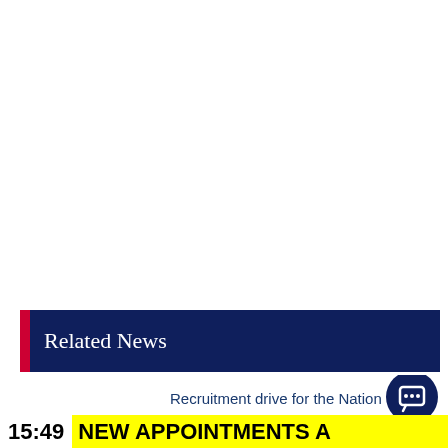Related News
Recruitment drive for the Nation
15:49  NEW APPOINTMENTS A